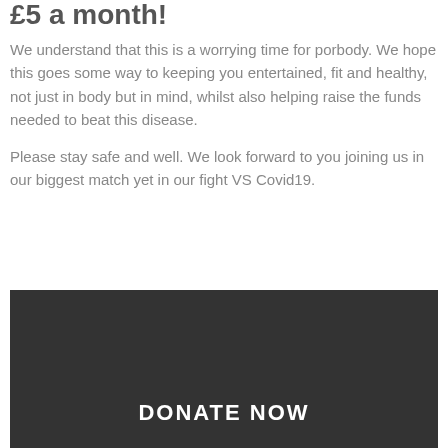£5 a month!
We understand that this is a worrying time for porbody. We hope this goes some way to keeping you entertained, fit and healthy, not just in body but in mind, whilst also helping raise the funds needed to beat this disease.

Please stay safe and well. We look forward to you joining us in our biggest match yet in our fight VS Covid19.
DONATE NOW